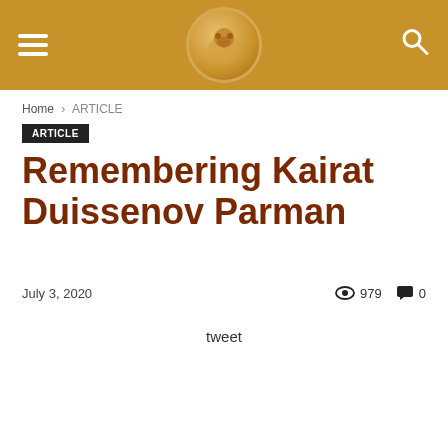Navigation header with hamburger menu, logo, and search icon
Home › ARTICLE
ARTICLE
Remembering Kairat Duissenov Parman
July 3, 2020  979  0
tweet